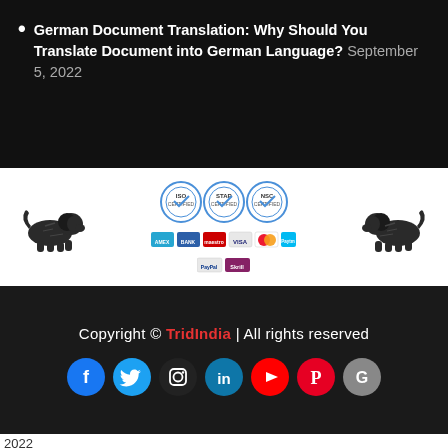German Document Translation: Why Should You Translate Document into German Language? September 5, 2022
[Figure (logo): Left lion logo, center certification badges (ISO certified, etc.) and payment method icons (Amex, Bank, Maestro, Visa, Mastercard, Paytm, PayPal, Skrill), right lion logo]
Copyright © TridIndia | All rights reserved
[Figure (infographic): Row of 7 social media icons: Facebook (blue), Twitter (cyan), Instagram (dark), LinkedIn (cyan), YouTube (red), Pinterest (red), Google (grey)]
2022